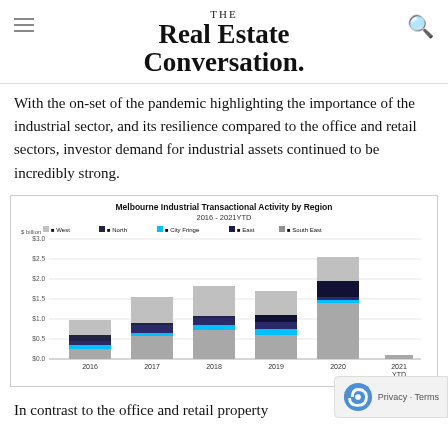THE Real Estate Conversation.
With the on-set of the pandemic highlighting the importance of the industrial sector, and its resilience compared to the office and retail sectors, investor demand for industrial assets continued to be incredibly strong.
[Figure (stacked-bar-chart): Melbourne Industrial Transactional Activity by Region 2016 - 2021YTD]
In contrast to the office and retail property